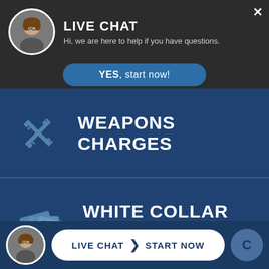[Figure (screenshot): Live chat popup header with woman's avatar, title 'LIVE CHAT', subtitle 'Hi, we are here to help if you have questions.', and a blue 'YES, start now!' button]
LIVE CHAT
Hi, we are here to help if you have questions.
YES, start now!
[Figure (illustration): Crossed rifles icon in blue]
WEAPONS CHARGES
[Figure (illustration): Money bills icon in blue]
WHITE COLLAR CRIMES
[Figure (screenshot): Bottom live chat bar with woman's avatar, 'LIVE CHAT > START NOW' button, and logo]
LIVE CHAT  START NOW